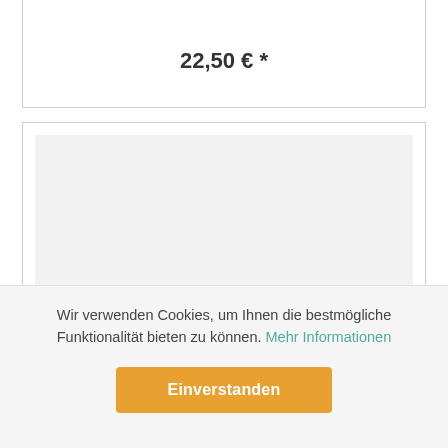22,50 € *
[Figure (other): Gray placeholder image area]
Wir verwenden Cookies, um Ihnen die bestmögliche Funktionalität bieten zu können. Mehr Informationen
Einverstanden